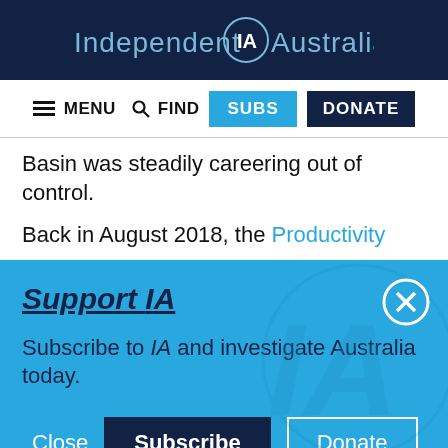Independent IA Australia
MENU  FIND  SUBS  DONATE
Basin was steadily careering out of control.
Back in August 2018, the Productivity
Support IA
Subscribe to IA and investigate Australia today.
Close  Subscribe  Donate
Social icons: Twitter, Facebook, LinkedIn, Flipboard, Link, Plus